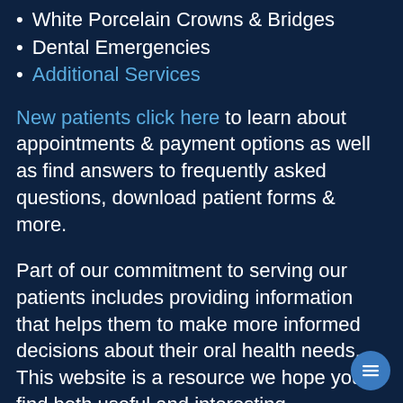White Porcelain Crowns & Bridges
Dental Emergencies
Additional Services
New patients click here to learn about appointments & payment options as well as find answers to frequently asked questions, download patient forms & more.
Part of our commitment to serving our patients includes providing information that helps them to make more informed decisions about their oral health needs. This website is a resource we hope you'll find both useful and interesting.